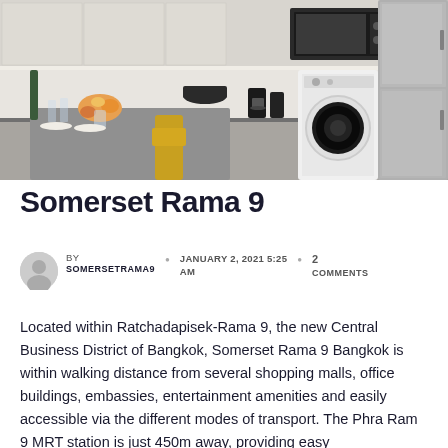[Figure (photo): Interior kitchen photo showing a modern furnished apartment kitchen with white cabinetry, dining table with flowers, washing machine, and refrigerator.]
Somerset Rama 9
BY SOMERSETRAMA9   JANUARY 2, 2021 5:25 AM   2 COMMENTS
Located within Ratchadapisek-Rama 9, the new Central Business District of Bangkok, Somerset Rama 9 Bangkok is within walking distance from several shopping malls, office buildings, embassies, entertainment amenities and easily accessible via the different modes of transport. The Phra Ram 9 MRT station is just 450m away, providing easy